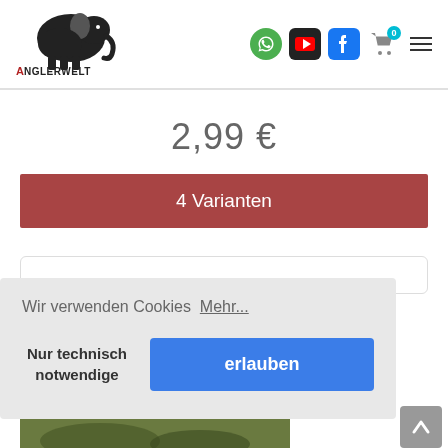[Figure (logo): Anglerwelt logo — elephant silhouette with text 'ANGLERWELT THE REAL WAY OF FISHING']
[Figure (infographic): Header icons: WhatsApp green circle, YouTube dark box, Facebook blue box, shopping cart with badge '0', hamburger menu]
2,99 €
4 Varianten
Wir verwenden Cookies  Mehr...
Nur technisch notwendige
erlauben